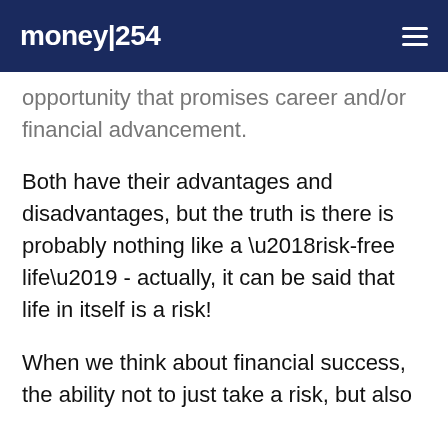money|254
opportunity that promises career and/or financial advancement.
Both have their advantages and disadvantages, but the truth is there is probably nothing like a ‘risk-free life’ - actually, it can be said that life in itself is a risk!
When we think about financial success, the ability not to just take a risk, but also